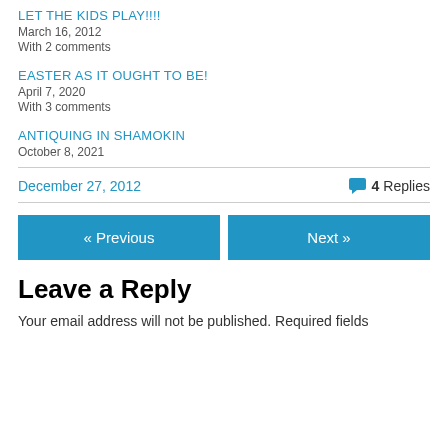LET THE KIDS PLAY!!!!
March 16, 2012
With 2 comments
EASTER AS IT OUGHT TO BE!
April 7, 2020
With 3 comments
ANTIQUING IN SHAMOKIN
October 8, 2021
December 27, 2012
4 Replies
« Previous
Next »
Leave a Reply
Your email address will not be published. Required fields